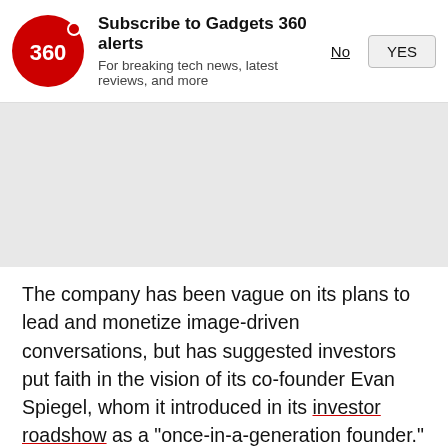[Figure (logo): Gadgets 360 red circular logo with '360' text and a red dot]
Subscribe to Gadgets 360 alerts
For breaking tech news, latest reviews, and more
No   YES
[Figure (other): Gray advertisement placeholder area]
The company has been vague on its plans to lead and monetize image-driven conversations, but has suggested investors put faith in the vision of its co-founder Evan Spiegel, whom it introduced in its investor roadshow as a "once-in-a-generation founder."
The 26-year-old will walk away with a roughly 17 percent stake valued at $4.05 billion